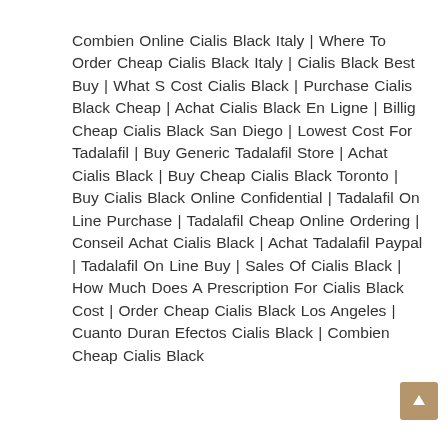Combien Online Cialis Black Italy | Where To Order Cheap Cialis Black Italy | Cialis Black Best Buy | What S Cost Cialis Black | Purchase Cialis Black Cheap | Achat Cialis Black En Ligne | Billig Cheap Cialis Black San Diego | Lowest Cost For Tadalafil | Buy Generic Tadalafil Store | Achat Cialis Black | Buy Cheap Cialis Black Toronto | Buy Cialis Black Online Confidential | Tadalafil On Line Purchase | Tadalafil Cheap Online Ordering | Conseil Achat Cialis Black | Achat Tadalafil Paypal | Tadalafil On Line Buy | Sales Of Cialis Black | How Much Does A Prescription For Cialis Black Cost | Order Cheap Cialis Black Los Angeles | Cuanto Duran Efectos Cialis Black | Combien Cheap Cialis Black